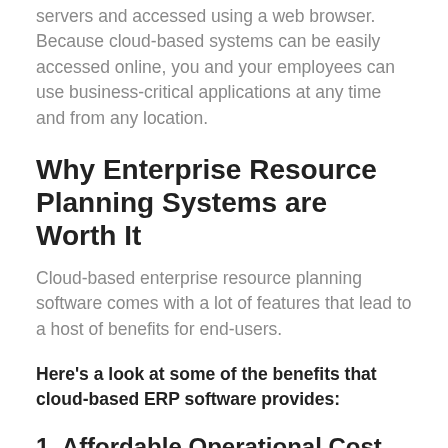servers and accessed using a web browser. Because cloud-based systems can be easily accessed online, you and your employees can use business-critical applications at any time and from any location.
Why Enterprise Resource Planning Systems are Worth It
Cloud-based enterprise resource planning software comes with a lot of features that lead to a host of benefits for end-users.
Here’s a look at some of the benefits that cloud-based ERP software provides:
1. Affordable Operational Cost
Because a cloud ERP solution doesn’t require a dedicated infrastructure and human resources, your company can save a lot of money that would be otherwise spent maintaining and servicing the